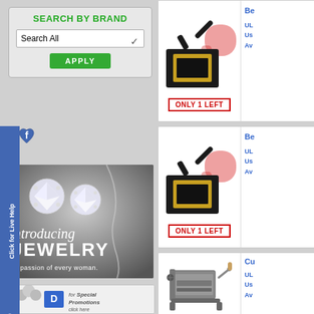SEARCH BY BRAND
Search All
APPLY
[Figure (illustration): Facebook live help sidebar badge with heart icon and blue vertical bar reading 'Click for Live Help']
[Figure (photo): Jewelry advertisement banner with diamond stud earrings, text 'introducing JEWELRY - A passion of every woman.']
[Figure (photo): Special Promotions banner with silver spheres and blue logo, text 'for Special Promotions click here']
[Figure (photo): Black waffle/burger press maker product image with tomatoes in background, ONLY 1 LEFT label]
Be
UL
Us
Av
ONLY 1 LEFT
[Figure (photo): Black waffle/burger press maker product image second listing, ONLY 1 LEFT label]
Be
UL
Us
Av
ONLY 1 LEFT
[Figure (photo): Silver pasta maker machine with wooden handle crank]
Cu
UL
Us
Av